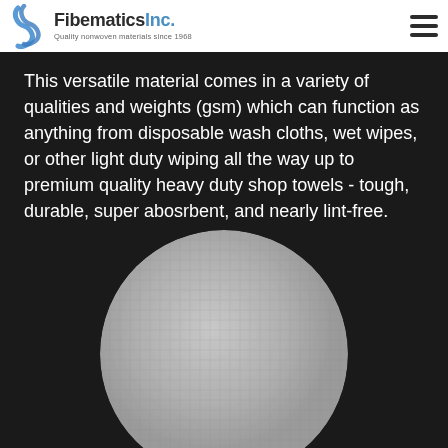FibematicsInc. Quality nonwoven materials since 1968
This versatile material comes in a variety of qualities and weights (gsm) which can function as anything from disposable wash cloths, wet wipes, or other light duty wiping all the way up to premium quality heavy duty shop towels - tough, durable, super abosrbent, and nearly lint-free.
[Figure (photo): Circular cropped photo of a gray nonwoven fabric material swatch on a dark background]